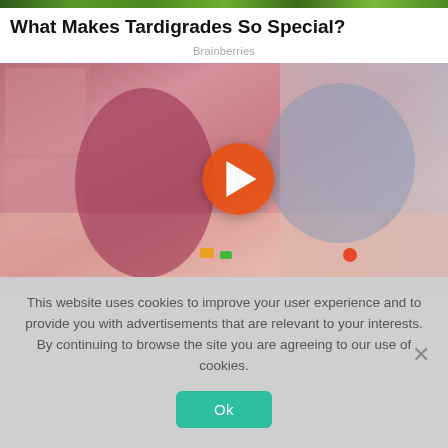[Figure (photo): Green foliage background strip at the top of the page]
What Makes Tardigrades So Special?
Brainberries
[Figure (screenshot): Movie scene still with play button overlay showing a woman in pink and a man in a blue shirt on a pink floor; styled as a video thumbnail with an orange circular play button in the center-left area]
This website uses cookies to improve your user experience and to provide you with advertisements that are relevant to your interests. By continuing to browse the site you are agreeing to our use of cookies.